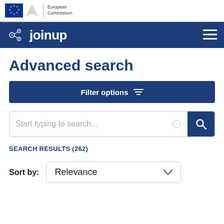[Figure (logo): European Commission logo with EU stars flag and 'European Commission' text]
[Figure (logo): Joinup logo on dark blue navigation bar with hamburger menu icon]
Advanced search
Filter options
Start typing to search...
SEARCH RESULTS (262)
Sort by: Relevance